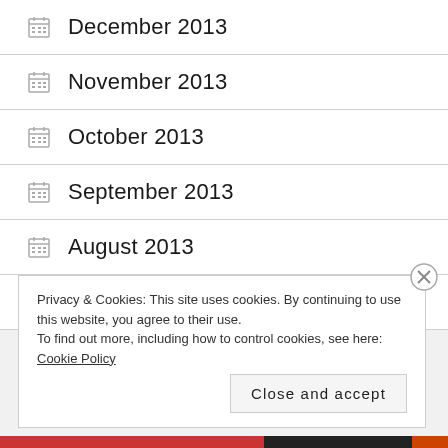December 2013
November 2013
October 2013
September 2013
August 2013
July 2013
Privacy & Cookies: This site uses cookies. By continuing to use this website, you agree to their use. To find out more, including how to control cookies, see here: Cookie Policy
Close and accept